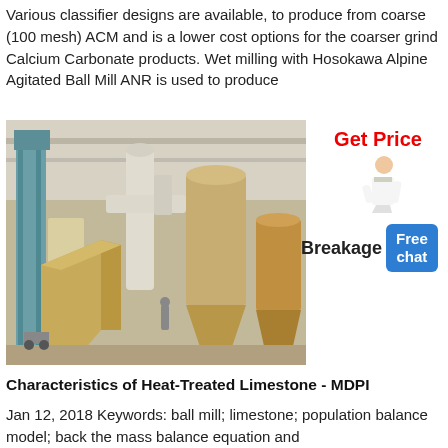Various classifier designs are available, to produce from coarse (100 mesh) ACM and is a lower cost options for the coarser grind Calcium Carbonate products. Wet milling with Hosokawa Alpine Agitated Ball Mill ANR is used to produce
[Figure (photo): Industrial milling/grinding equipment inside a factory building, showing large yellow hoppers, cyclones, conveyors and dust collectors]
Get Price
Breakage Free chat
Characteristics of Heat-Treated Limestone - MDPI
Jan 12, 2018 Keywords: ball mill; limestone; population balance model; back the mass balance equation and